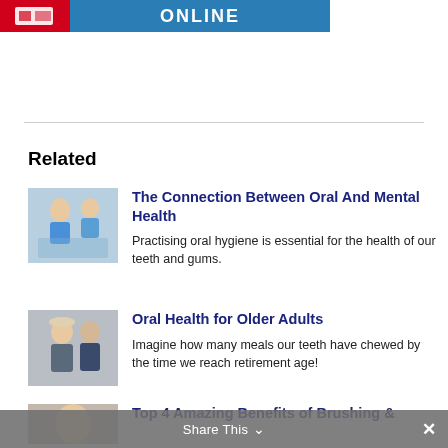[Figure (logo): Website header banner with red section containing white icon and blue section with ONLINE text in white]
Related
[Figure (photo): Thumbnail photo of dental patient and dentist]
The Connection Between Oral And Mental Health
Practising oral hygiene is essential for the health of our teeth and gums.
[Figure (photo): Thumbnail photo of older adult couple smiling]
Oral Health for Older Adults
Imagine how many meals our teeth have chewed by the time we reach retirement age!
[Figure (photo): Thumbnail photo of young person]
Top 4 Amazing Benefits of Brushing &
Share This ×